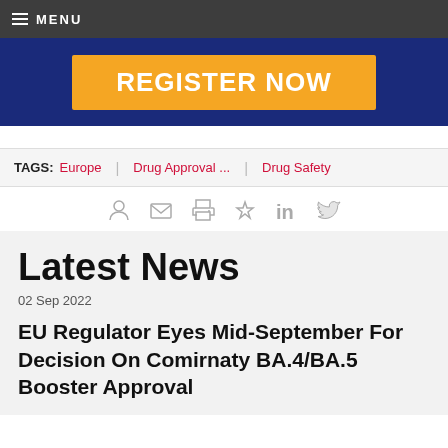MENU
[Figure (other): Orange 'REGISTER NOW' button on a dark navy blue banner background]
TAGS: Europe | Drug Approval ... | Drug Safety
Latest News
02 Sep 2022
EU Regulator Eyes Mid-September For Decision On Comirnaty BA.4/BA.5 Booster Approval